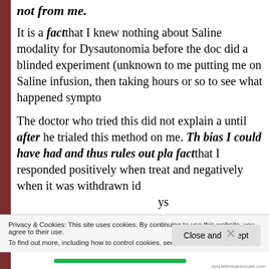not from me.
It is a fact that I knew nothing about Saline modality for Dysautonomia before the doctor did a blinded experiment (unknown to me) putting me on Saline infusion, then taking hours or so to see what happened sympto...
The doctor who tried this did not explain a... until after he trialed this method on me. Th... bias I could have had and thus rules out pla... fact that I responded positively when treat... and negatively when it was withdrawn id... ys...
Privacy & Cookies: This site uses cookies. By continuing to use this website, you agree to their use.
To find out more, including how to control cookies, see here: Cookie Policy
Close and accept